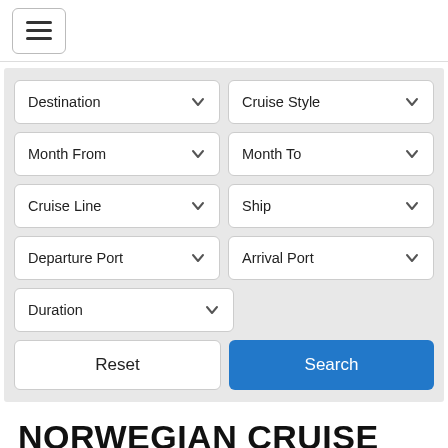[Figure (screenshot): Navigation hamburger menu button in top-left corner]
[Figure (screenshot): Search filter panel with dropdowns: Destination, Cruise Style, Month From, Month To, Cruise Line, Ship, Departure Port, Arrival Port, Duration, and Reset/Search buttons]
NORWEGIAN CRUISE LINE
Overview  Ships  Cruise Departures